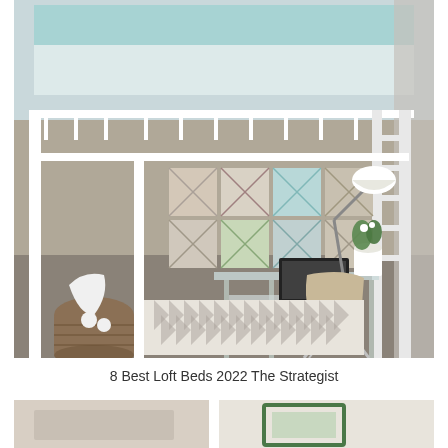[Figure (photo): A white metal loft bed with a glass-top desk and modern chair underneath. Decorative art panels on the wall, a basket with a white blanket on the floor, a small potted plant on the desk, and a patterned rug on carpet flooring.]
8 Best Loft Beds 2022 The Strategist
[Figure (photo): Partial view of another photo, showing what appears to be a bed or furniture item, partially cropped.]